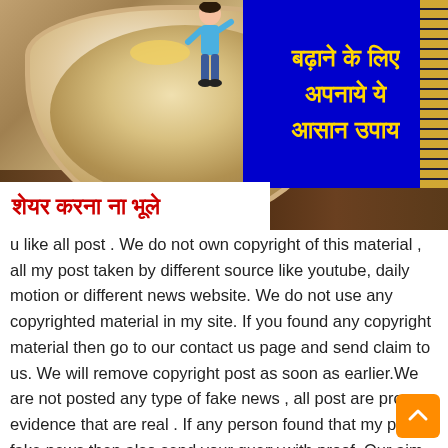[Figure (photo): Composite image: bowl of oatmeal/muesli with banana slices on wooden surface, overlaid with blue banner containing Hindi text in yellow about height-increasing tips, a cartoon figure of a child next to a ruler, and a white banner at bottom with red Hindi text saying 'share karna na bhoole' (don't forget to share)]
u like all post . We do not own copyright of this material , all my post taken by different source like youtube, daily motion or different news website. We do not use any copyrighted material in my site. If you found any copyright material then go to our contact us page and send claim to us. We will remove copyright post as soon as earlier.We are not posted any type of fake news , all post are proper evidence that are real . If any person found that my post is fake news then also send your query with proof .Our aim to provide fresh & good material to you , we wants to give fast & viral news who viral in social media . Also our post full fill facebook & google policies. We are not gather any personal information when you visit our website. Only third party ads are shown in my site , which we have no control .If